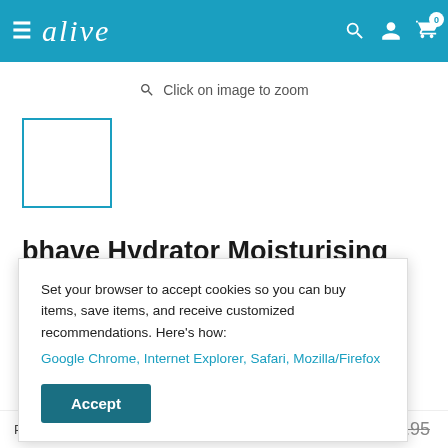alive
Click on image to zoom
[Figure (photo): Product thumbnail placeholder box with blue border]
bhave Hydrator Moisturising
Set your browser to accept cookies so you can buy items, save items, and receive customized recommendations. Here's how: Google Chrome, Internet Explorer, Safari, Mozilla/Firefox
Accept
Price $20.56  $33.95